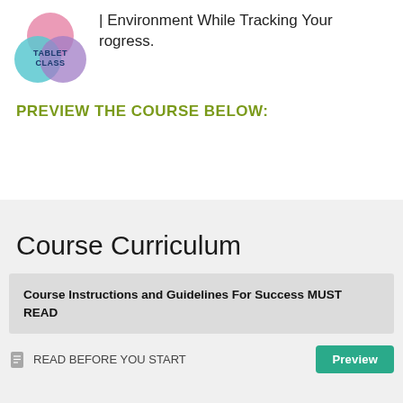[Figure (logo): TabletClass logo with overlapping colored circles and text TABLET CLASS]
| Environment While Tracking Your rogress.
PREVIEW THE COURSE BELOW:
Course Curriculum
Course Instructions and Guidelines For Success MUST READ
READ BEFORE YOU START